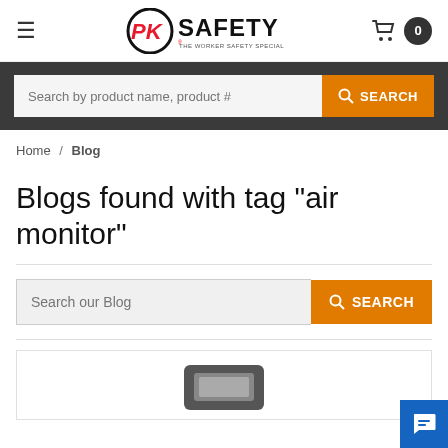PK SAFETY - THE WORKER SAFETY SPECIALISTS
Search by product name, product #
Home / Blog
Blogs found with tag "air monitor"
Search our Blog
[Figure (photo): Partial product image visible at bottom of page, appears to be a gas detector or air monitor device]